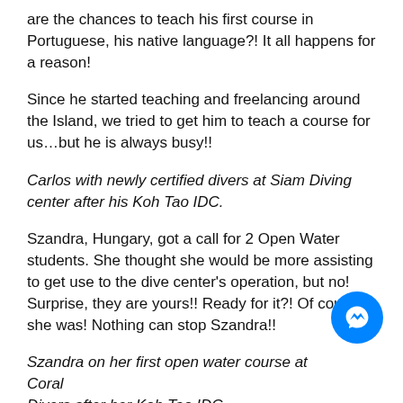are the chances to teach his first course in Portuguese, his native language?! It all happens for a reason!
Since he started teaching and freelancing around the Island, we tried to get him to teach a course for us…but he is always busy!!
Carlos with newly certified divers at Siam Diving center after his Koh Tao IDC.
Szandra, Hungary, got a call for 2 Open Water students. She thought she would be more assisting to get use to the dive center's operation, but no! Surprise, they are yours!! Ready for it?! Of course she was! Nothing can stop Szandra!!
Szandra on her first open water course at Coral Divers after her Koh Tao IDC
Stephen, England, used to work as a Photographer/Videographer. He decided to leave the